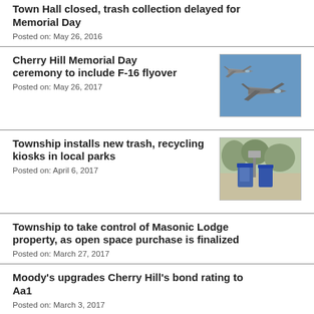Town Hall closed, trash collection delayed for Memorial Day
Posted on: May 26, 2016
Cherry Hill Memorial Day ceremony to include F-16 flyover
Posted on: May 26, 2017
[Figure (photo): Two F-16 fighter jets flying in formation against a blue sky]
Township installs new trash, recycling kiosks in local parks
Posted on: April 6, 2017
[Figure (photo): Blue recycling/trash kiosk bins in a park setting with trees in background]
Township to take control of Masonic Lodge property, as open space purchase is finalized
Posted on: March 27, 2017
Moody's upgrades Cherry Hill's bond rating to Aa1
Posted on: March 3, 2017
Mayor Cahn issues statement
[Figure (logo): Cherry Hill Township logo with red swoosh and text CHERRY]